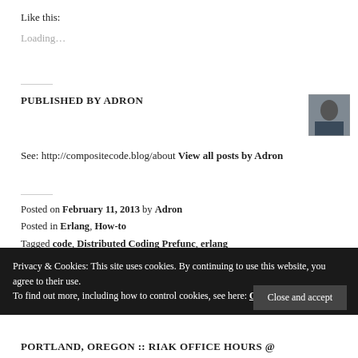Like this:
Loading…
PUBLISHED BY ADRON
See: http://compositecode.blog/about View all posts by Adron
Posted on February 11, 2013 by Adron
Posted in Erlang, How-to
Tagged code, Distributed Coding Prefunc, erlang
Privacy & Cookies: This site uses cookies. By continuing to use this website, you agree to their use.
To find out more, including how to control cookies, see here: Our Cookie Policy
Close and accept
PORTLAND, OREGON :: RIAK OFFICE HOURS @